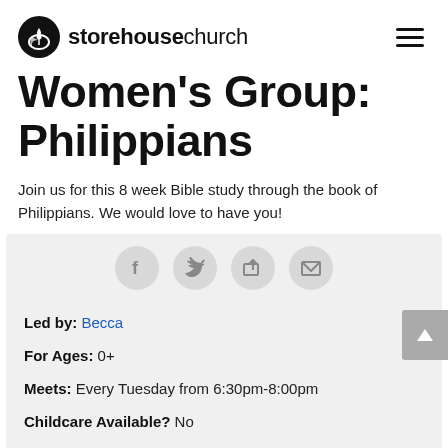storehouse church
Women's Group: Philippians
Join us for this 8 week Bible study through the book of Philippians. We would love to have you!
[Figure (infographic): Social sharing buttons: Facebook, Twitter, Share, Email]
Led by: Becca
For Ages: 0+
Meets: Every Tuesday from 6:30pm-8:00pm
Childcare Available? No
Topic: Bible Study & Fellowship
Group Type: Community Group, Women
Location: main building - Storehouse Church